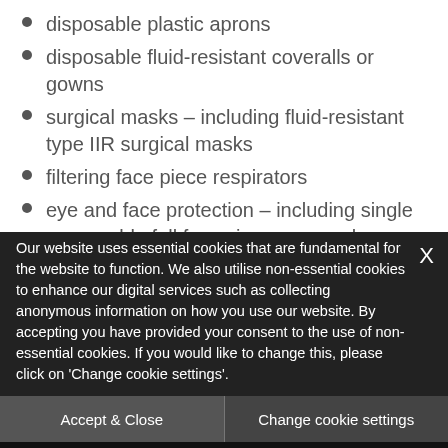disposable plastic aprons
disposable fluid-resistant coveralls or gowns
surgical masks – including fluid-resistant type IIR surgical masks
filtering face piece respirators
eye and face protection – including single or reusable full face visors or goggles
The new zero rate will relieve the burden of VAT on the
Our website uses essential cookies that are fundamental for the website to function. We also utilise non-essential cookies to enhance our digital services such as collecting anonymous information on how you use our website. By accepting you have provided your consent to the use of non-essential cookies. If you would like to change this, please click on 'Change cookie settings'.
Accept & Close
Change cookie settings